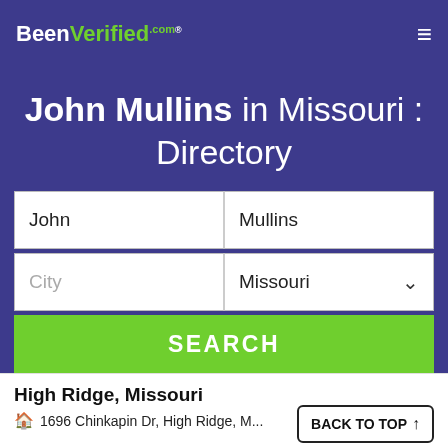BeenVerified.com
John Mullins in Missouri : Directory
John | Mullins
City | Missouri
SEARCH
High Ridge, Missouri
1696 Chinkapin Dr, High Ridge, M...
BACK TO TOP ↑